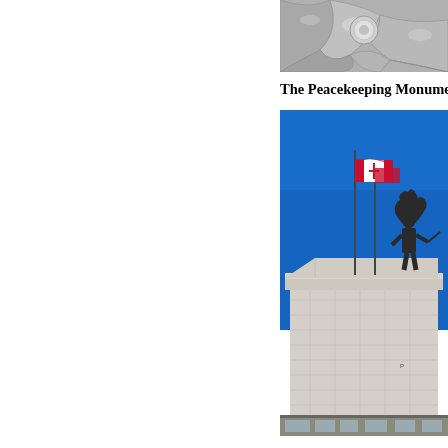[Figure (photo): Close-up of metallic puzzle pieces or decorative metal emblem, partially visible at top right of page]
The Peacekeeping Monumen
[Figure (photo): Photograph of the Peacekeeping Monument in Ottawa showing a large stone structure with flagpoles flying Canadian and other flags against a clear blue sky, with bronze soldier statues on top. Bottom portion shows a street-level view of the monument area.]